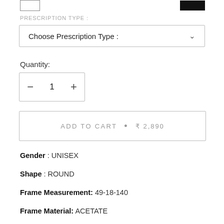[Figure (other): Two color swatches at top: white square with border and black rectangle]
PRESCRIPTION TYPE :
Choose Prescription Type :
Quantity:
— 1 +
ADD TO CART  •  ₹ 2,890
Gender : UNISEX
Shape : ROUND
Frame Measurement: 49-18-140
Frame Material: ACETATE